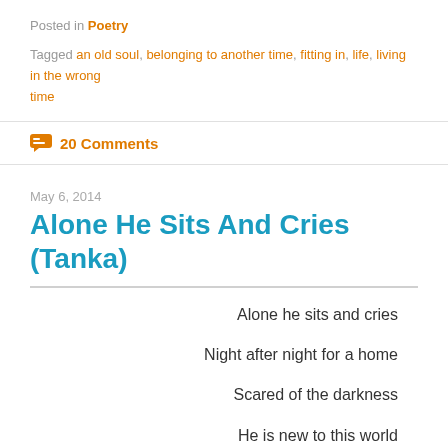Posted in Poetry
Tagged an old soul, belonging to another time, fitting in, life, living in the wrong time
20 Comments
May 6, 2014
Alone He Sits And Cries (Tanka)
Alone he sits and cries
Night after night for a home
Scared of the darkness
He is new to this world